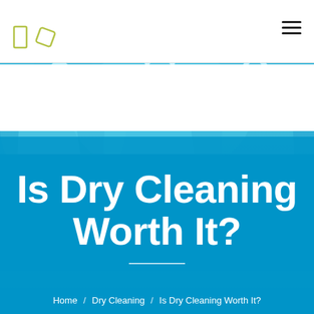[Figure (logo): Two small icon shapes (rectangle and rotated tag/label) in olive/yellow-green color, used as site logo marks in the header]
[Figure (other): Hamburger menu icon (three horizontal lines) in the top right of the header]
[Figure (photo): Blue-tinted background image showing clothes on hangers (dry cleaning), used as hero section background]
Is Dry Cleaning Worth It?
Home / Dry Cleaning / Is Dry Cleaning Worth It?